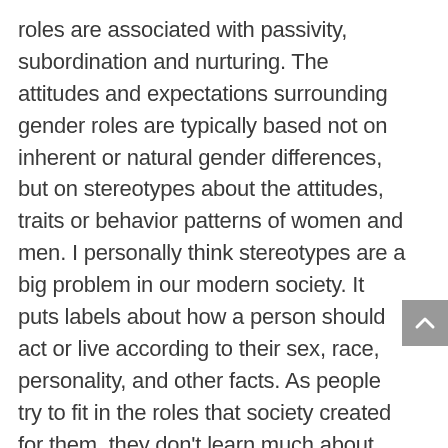roles are associated with passivity, subordination and nurturing. The attitudes and expectations surrounding gender roles are typically based not on inherent or natural gender differences, but on stereotypes about the attitudes, traits or behavior patterns of women and men. I personally think stereotypes are a big problem in our modern society. It puts labels about how a person should act or live according to their sex, race, personality, and other facts. As people try to fit in the roles that society created for them, they don't learn much about the other roles the opposite sex has. In this game, all the cards and their themes are prepared about general stereotypes that society created over men and women and the gender roles, to show sexism and how people have different areas of interest because of this situation.